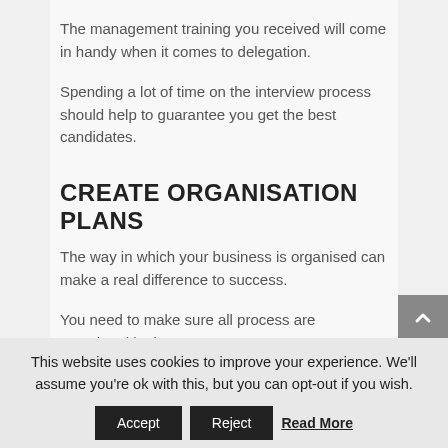The management training you received will come in handy when it comes to delegation.
Spending a lot of time on the interview process should help to guarantee you get the best candidates.
CREATE ORGANISATION PLANS
The way in which your business is organised can make a real difference to success.
You need to make sure all process are completed in the
This website uses cookies to improve your experience. We'll assume you're ok with this, but you can opt-out if you wish.